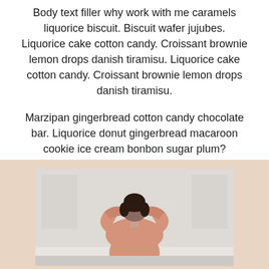Body text filler why work with me caramels liquorice biscuit. Biscuit wafer jujubes. Liquorice cake cotton candy. Croissant brownie lemon drops danish tiramisu. Liquorice cake cotton candy. Croissant brownie lemon drops danish tiramisu.
Marzipan gingerbread cotton candy chocolate bar. Liquorice donut gingerbread macaroon cookie ice cream bonbon sugar plum?
[Figure (photo): A person with dark hair, seen from behind, wearing a pink/salmon colored top, with arms raised behind their head, set against a light background with a beige/tan outer border.]